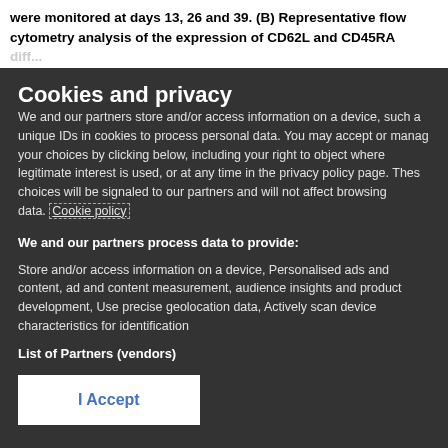were monitored at days 13, 26 and 39. (B) Representative flow cytometry analysis of the expression of CD62L and CD45RA diff...
Cookies and privacy
We and our partners store and/or access information on a device, such as unique IDs in cookies to process personal data. You may accept or manage your choices by clicking below, including your right to object where legitimate interest is used, or at any time in the privacy policy page. These choices will be signaled to our partners and will not affect browsing data. Cookie policy
We and our partners process data to provide:
Store and/or access information on a device, Personalised ads and content, ad and content measurement, audience insights and product development, Use precise geolocation data, Actively scan device characteristics for identification
List of Partners (vendors)
I Accept